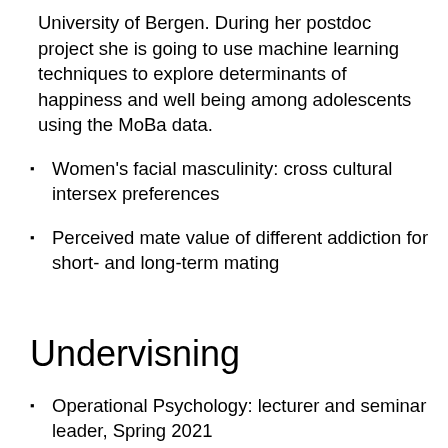University of Bergen. During her postdoc project she is going to use machine learning techniques to explore determinants of happiness and well being among adolescents using the MoBa data.
Women's facial masculinity: cross cultural intersex preferences
Perceived mate value of different addiction for short- and long-term mating
Undervisning
Operational Psychology: lecturer and seminar leader, Spring 2021
Personality Psychology: lecturer, Spring 2019
Personnel Psychology: seminar leader, Fall 2018